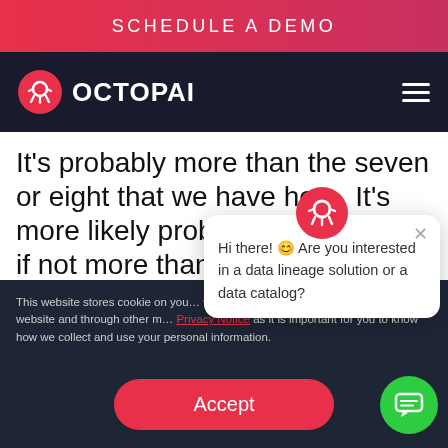SCHEDULE A DEMO
[Figure (logo): Octopai logo with red circle icon and white text 'OCTOPAI' on dark navy background, with hamburger menu icon on right]
It’s probably more than the seven or eight that we have here. It’s more likely probably to hundreds if not more than that, so you can imagine how much time and effort your teams are wasting trying reverse engineering those reports because, known from the g… …atus of all of th…
This website stores cookie on you… website experience and provide m… this website and through other me… Privacy Notice as it is important for you to know how we collect and use your personal information.
[Figure (screenshot): Chat popup bubble with Octopai icon reading: Hi there! ☺ Are you interested in a data lineage solution or a data catalog?]
Accept